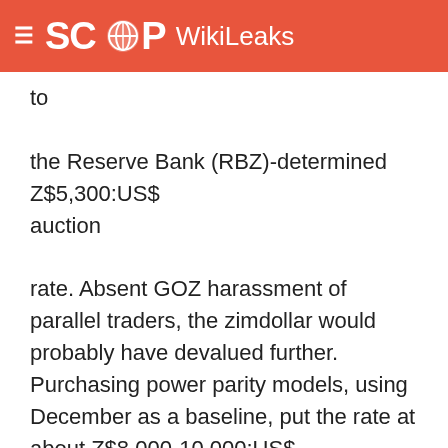SCOOP WikiLeaks
to

the Reserve Bank (RBZ)-determined Z$5,300:US$
auction

rate. Absent GOZ harassment of parallel traders, the zimdollar would probably have devalued further. Purchasing power parity models, using December as a baseline, put the rate at about Z$8,000-10,000:US$.
3. Demand for U.S. dollars at the official discounted rate has understandably exploded. Bids at each auction

now reach nearly US$40 million, with only US$9.5 million

on offer. (It has lately taken the RBZ two months to